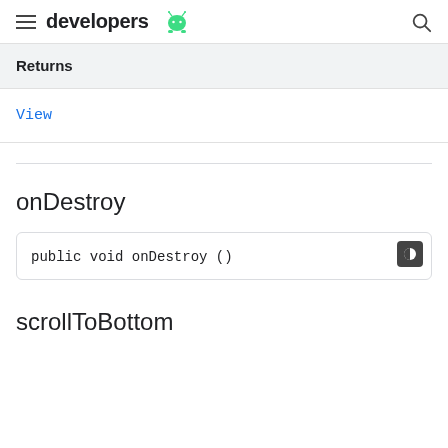developers
Returns
View
onDestroy
public void onDestroy ()
scrollToBottom